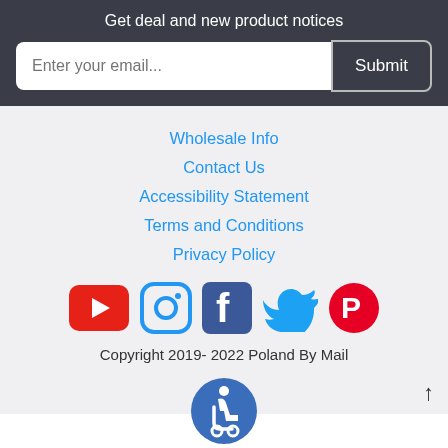Get deal and new product notices
Enter your email...
Submit
Wholesale Info
Contact Us
Accessibility Statement
Terms and Conditions
Privacy Policy
[Figure (logo): Social media icons: YouTube, Instagram, Facebook, Twitter, Pinterest]
Copyright 2019- 2022 Poland By Mail
[Figure (logo): Accessibility wheelchair icon (blue circle)]
↑ scroll to top arrow